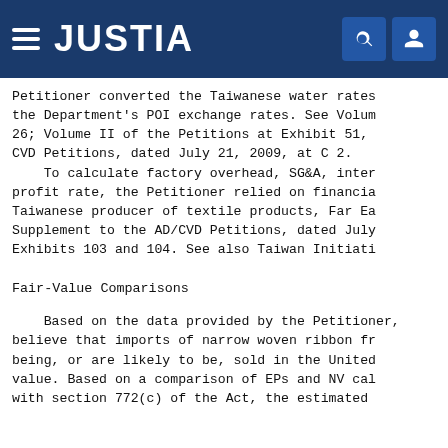JUSTIA
Petitioner converted the Taiwanese water rates using the Department's POI exchange rates. See Volume I at 26; Volume II of the Petitions at Exhibit 51, Taiwan CVD Petitions, dated July 21, 2009, at C 2.
    To calculate factory overhead, SG&A, interest, and profit rate, the Petitioner relied on financial data of a Taiwanese producer of textile products, Far Ea... Supplement to the AD/CVD Petitions, dated July... Exhibits 103 and 104. See also Taiwan Initiati...
Fair-Value Comparisons
Based on the data provided by the Petitioner, we believe that imports of narrow woven ribbon from Taiwan being, or are likely to be, sold in the United States below value. Based on a comparison of EPs and NV cal... with section 772(c) of the Act, the estimated...